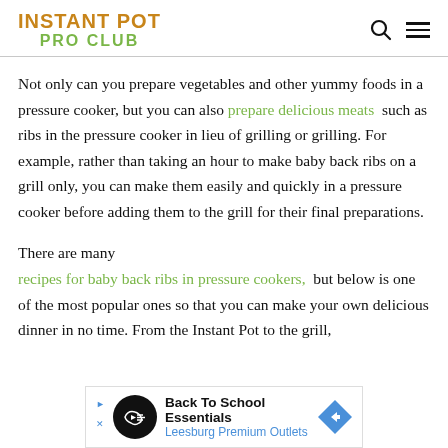INSTANT POT PRO CLUB
Not only can you prepare vegetables and other yummy foods in a pressure cooker, but you can also prepare delicious meats such as ribs in the pressure cooker in lieu of grilling or grilling. For example, rather than taking an hour to make baby back ribs on a grill only, you can make them easily and quickly in a pressure cooker before adding them to the grill for their final preparations.
There are many recipes for baby back ribs in pressure cookers, but below is one of the most popular ones so that you can make your own delicious dinner in no time. From the Instant Pot to the grill,
[Figure (other): Advertisement banner for Back To School Essentials at Leesburg Premium Outlets]